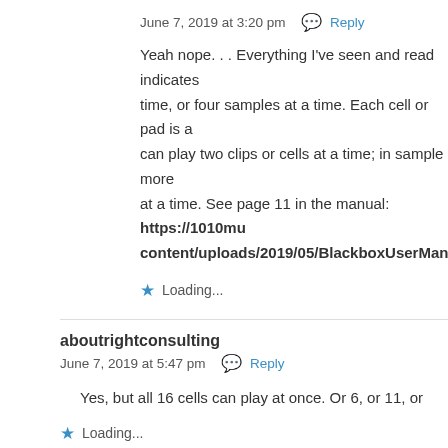June 7, 2019 at 3:20 pm  💬 Reply
Yeah nope... Everything I've seen and read indicates time, or four samples at a time. Each cell or pad is a can play two clips or cells at a time; in sample more at a time. See page 11 in the manual: https://1010mu content/uploads/2019/05/BlackboxUserManualv
Loading...
aboutrightconsulting
June 7, 2019 at 5:47 pm  💬 Reply
Yes, but all 16 cells can play at once. Or 6, or 11, or
Loading...
Carlos
June 7, 2019 at 5:54 pm  💬 Reply